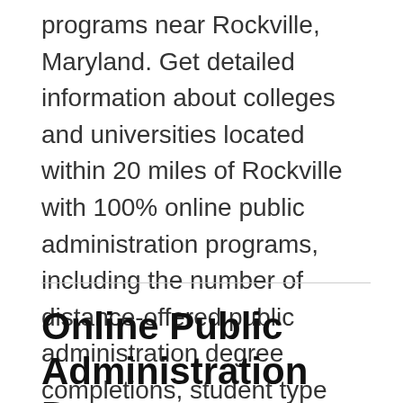programs near Rockville, Maryland. Get detailed information about colleges and universities located within 20 miles of Rockville with 100% online public administration programs, including the number of distance-offered public administration degree completions, student type and more. In the end, you'll have an understanding of which college or university may be right for you.
Online Public Administration Degrees near Rockville, Maryland by